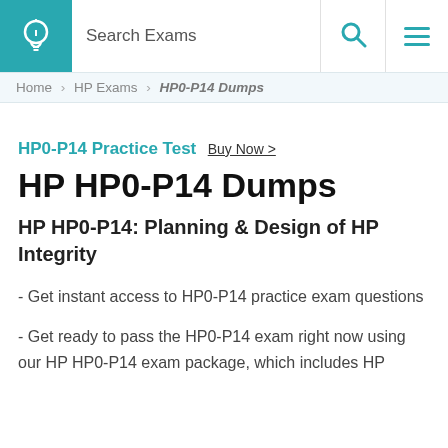Search Exams
Home > HP Exams > HP0-P14 Dumps
HP0-P14 Practice Test Buy Now >
HP HP0-P14 Dumps
HP HP0-P14: Planning & Design of HP Integrity
- Get instant access to HP0-P14 practice exam questions
- Get ready to pass the HP0-P14 exam right now using our HP HP0-P14 exam package, which includes HP